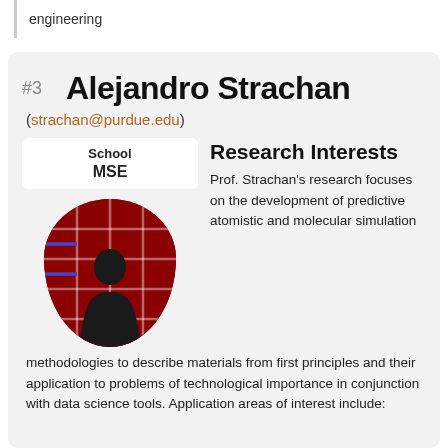engineering
Alejandro Strachan
(strachan@purdue.edu)
| School |
| --- |
| MSE |
[Figure (photo): Photo of Alejandro Strachan standing in front of a red lattice/grid background]
Research Interests
Prof. Strachan's research focuses on the development of predictive atomistic and molecular simulation methodologies to describe materials from first principles and their application to problems of technological importance in conjunction with data science tools. Application areas of interest include: